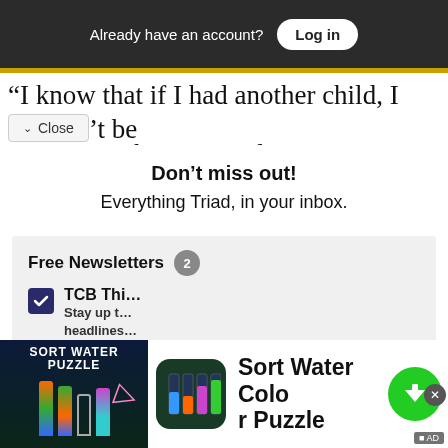Already have an account? Log in
“I know that if I had another child, I wouldn’t be …ce that I am today.” Desiree says. “It’s
Close
Don’t miss out!
Everything Triad, in your inbox.
Free Newsletters 2
TCB Thi… Stay up t… headlines… inbox.
Top Videos of the Day: - The Rolling Sto... ×
[Figure (photo): Video thumbnail showing people in a room, partially obscured by newsletter overlay]
[Figure (screenshot): Bottom advertisement for Sort Water Color Puzzle mobile game, showing app icon, colorful water sorting graphics, and a green download button]
Sort Water Color Puzzle
AD